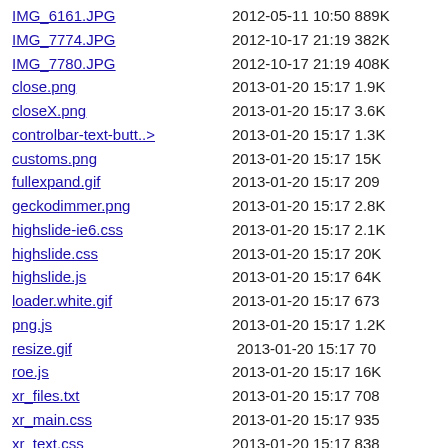IMG_6161.JPG  2012-05-11 10:50 889K
IMG_7774.JPG  2012-10-17 21:19 382K
IMG_7780.JPG  2012-10-17 21:19 408K
close.png  2013-01-20 15:17  1.9K
closeX.png  2013-01-20 15:17  3.6K
controlbar-text-butt..>  2013-01-20 15:17  1.3K
customs.png  2013-01-20 15:17   15K
fullexpand.gif  2013-01-20 15:17   209
geckodimmer.png  2013-01-20 15:17  2.8K
highslide-ie6.css  2013-01-20 15:17  2.1K
highslide.css  2013-01-20 15:17   20K
highslide.js  2013-01-20 15:17   64K
loader.white.gif  2013-01-20 15:17   673
png.js  2013-01-20 15:17  1.2K
resize.gif  2013-01-20 15:17    70
roe.js  2013-01-20 15:17   16K
xr_files.txt  2013-01-20 15:17   708
xr_main.css  2013-01-20 15:17   935
xr_text.css  2013-01-20 15:17   838